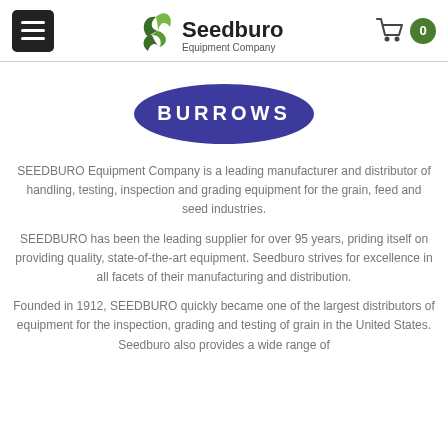Seedburo Equipment Company — Navigation header with hamburger menu, logo, and cart
[Figure (logo): BURROWS brand oval logo — dark blue/purple ellipse with white bold text 'BURROWS' in the center]
SEEDBURO Equipment Company is a leading manufacturer and distributor of handling, testing, inspection and grading equipment for the grain, feed and seed industries.
SEEDBURO has been the leading supplier for over 95 years, priding itself on providing quality, state-of-the-art equipment. Seedburo strives for excellence in all facets of their manufacturing and distribution.
Founded in 1912, SEEDBURO quickly became one of the largest distributors of equipment for the inspection, grading and testing of grain in the United States. Seedburo also provides a wide range of